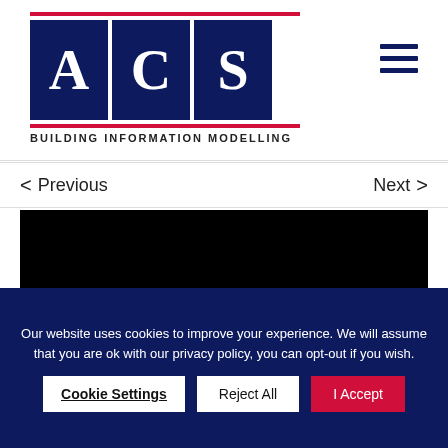[Figure (logo): ACS Building Information Modelling logo — three dark navy blue boxes each containing a white letter A, C, S, with red horizontal bars above and below, and 'BUILDING INFORMATION MODELLING' text underneath]
[Figure (other): Hamburger menu icon — three horizontal dark navy lines]
< Previous
Next >
[Figure (other): Black video/media embed placeholder area]
Our website uses cookies to improve your experience. We will assume that you are ok with our privacy policy, you can opt-out if you wish.  Cookie Settings   Reject All   I Accept